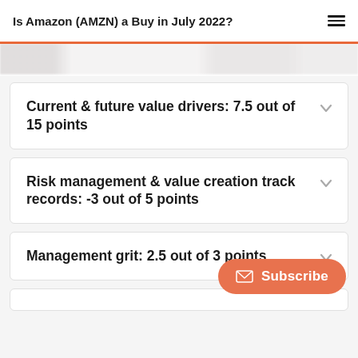Is Amazon (AMZN) a Buy in July 2022?
Current & future value drivers: 7.5 out of 15 points
Risk management & value creation track records: -3 out of 5 points
Management grit: 2.5 out of 3 points